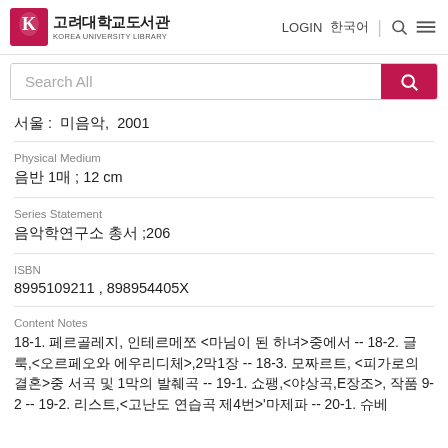고려대학교도서관 KOREA UNIVERSITY LIBRARY
서울 : 미음악, 2001
Physical Medium
음반 1매 ; 12 cm
Series Statement
음악학연구소 총서 ;206
ISBN
8995109211 , 898954405X
Content Notes
18-1. 페르골레지, 인테르메쪼 <마님이 된 하녀>중에서 -- 18-2. 글룩,<오르페오와 에우리디체>,2막1장 -- 18-3. 모짜르트, <피가로의 결혼>중 서곡 및 1막의 발췌곡 -- 19-1. 쇼팽,<야상곡,E장조>, 작품 9-2 -- 19-2. 리스트,<고난도 연습곡 제4번>'마제파 -- 20-1. 슈베